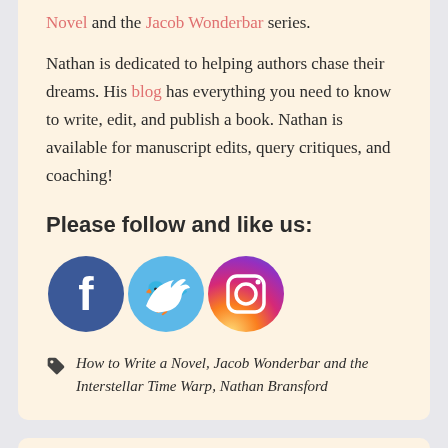Novel and the Jacob Wonderbar series.
Nathan is dedicated to helping authors chase their dreams. His blog has everything you need to know to write, edit, and publish a book. Nathan is available for manuscript edits, query critiques, and coaching!
Please follow and like us:
[Figure (logo): Facebook, Twitter, and Instagram social media icons]
How to Write a Novel, Jacob Wonderbar and the Interstellar Time Warp, Nathan Bransford
Categories